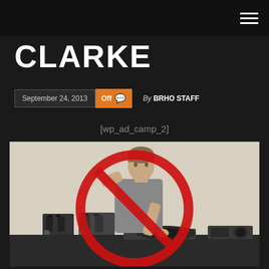CLARKE
CLARKE
September 24, 2013  Off  By BRHO STAFF
[wp_ad_camp_2]
[Figure (photo): A man leaning over DJ equipment (turntables and toasters on a table) with a large red prohibition/no sign overlaid on top of the image. Background is light beige/grey.]